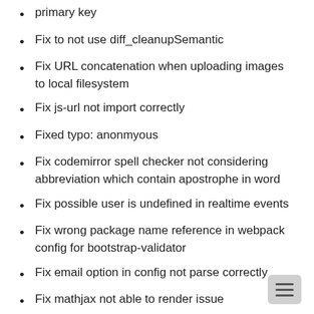primary key
Fix to not use diff_cleanupSemantic
Fix URL concatenation when uploading images to local filesystem
Fix js-url not import correctly
Fixed typo: anonmyous
Fix codemirror spell checker not considering abbreviation which contain apostrophe in word
Fix possible user is undefined in realtime events
Fix wrong package name reference in webpack config for bootstrap-validator
Fix email option in config not parse correctly
Fix mathjax not able to render issue
Removes
Remove LZString compression for data storage
Remove LZS...